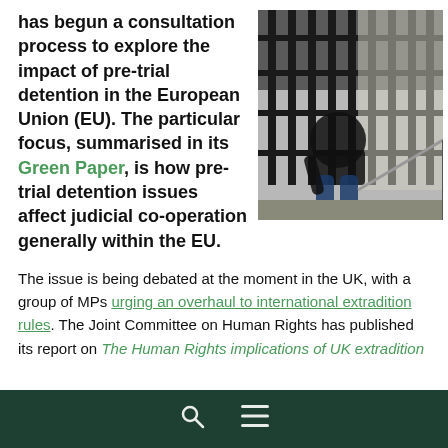has begun a consultation process to explore the impact of pre-trial detention in the European Union (EU). The particular focus, summarised in its Green Paper, is how pre-trial detention issues affect judicial co-operation generally within the EU.
[Figure (photo): A person sitting behind prison bars in a dark cell, silhouetted against light coming through the bars.]
The issue is being debated at the moment in the UK, with a group of MPs urging an overhaul to international extradition rules. The Joint Committee on Human Rights has published its report on The Human Rights implications of UK extradition
Search and Menu icons